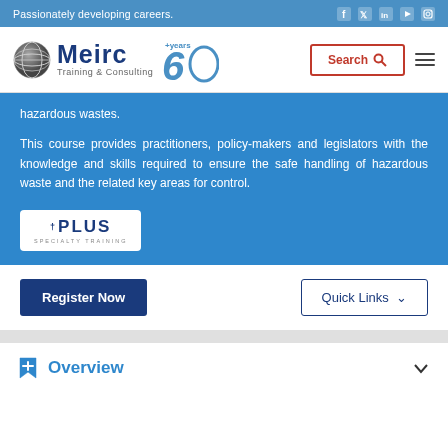Passionately developing careers.
[Figure (logo): Meirc Training & Consulting logo with 60+ years badge]
hazardous wastes.
This course provides practitioners, policy-makers and legislators with the knowledge and skills required to ensure the safe handling of hazardous waste and the related key areas for control.
[Figure (logo): PLUS Specialty Training badge/logo]
Register Now
Quick Links
Overview